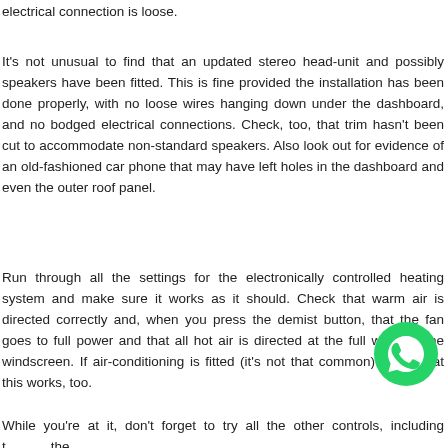electrical connection is loose.
It's not unusual to find that an updated stereo head-unit and possibly speakers have been fitted. This is fine provided the installation has been done properly, with no loose wires hanging down under the dashboard, and no bodged electrical connections. Check, too, that trim hasn't been cut to accommodate non-standard speakers. Also look out for evidence of an old-fashioned car phone that may have left holes in the dashboard and even the outer roof panel.
Run through all the settings for the electronically controlled heating system and make sure it works as it should. Check that warm air is directed correctly and, when you press the demist button, that the fan goes to full power and that all hot air is directed at the full width of the windscreen. If air-conditioning is fitted (it's not that common) check that this works, too.
While you're at it, don't forget to try all the other controls, including t the